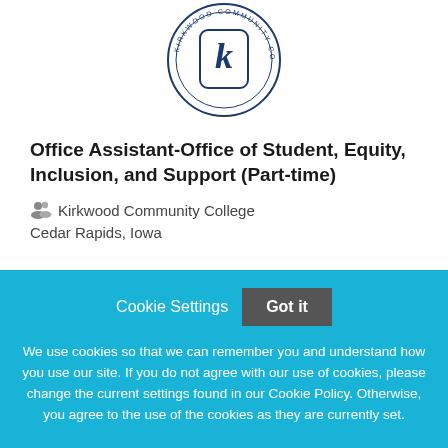[Figure (logo): Kirkwood Community College circular logo with letter K in center]
Office Assistant-Office of Student, Equity, Inclusion, and Support (Part-time)
Kirkwood Community College
Cedar Rapids, Iowa
Cookie Settings  Got it
We use cookies so that we can remember you and understand how you use our site. If you do not agree with our use of cookies, please change the current settings found in our Cookie Policy. Otherwise, you agree to the use of the cookies as they are currently set.